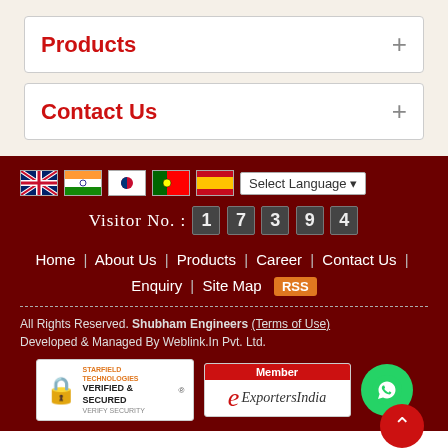Products
Contact Us
Visitor No.: 17394
Home | About Us | Products | Career | Contact Us | Enquiry | Site Map RSS
All Rights Reserved. Shubham Engineers (Terms of Use) Developed & Managed By Weblink.In Pvt. Ltd.